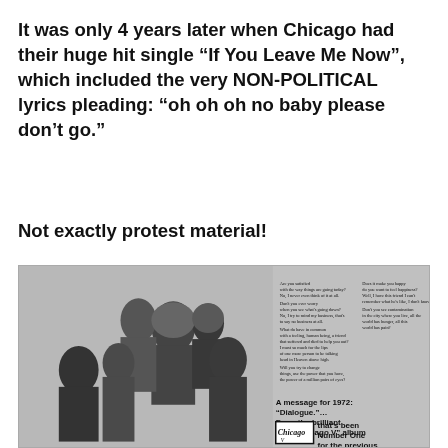It was only 4 years later when Chicago had their huge hit single “If You Leave Me Now”, which included the very NON-POLITICAL lyrics pleading: “oh oh oh no baby please don’t go.”
Not exactly protest material!
[Figure (photo): Vintage 1972 advertisement for Chicago V album featuring a black and white photo of the band members posed together. Text on the right side reads 'A message for 1972: Dialogue... From the brilliant new Chicago V album that’s been Number One for the previous' with Chicago logo visible.]